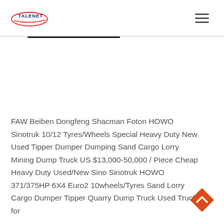TALENET [logo with hamburger menu]
FAW Beiben Dongfeng Shacman Foton HOWO Sinotruk 10/12 Tyres/Wheels Special Heavy Duty New Used Tipper Dumper Dumping Sand Cargo Lorry Mining Dump Truck US $13,000-50,000 / Piece Cheap Heavy Duty Used/New Sino Sinotruk HOWO 371/375HP 6X4 Euro2 10wheels/Tyres Sand Lorry Cargo Dumper Tipper Quarry Dump Truck Used Trucks for